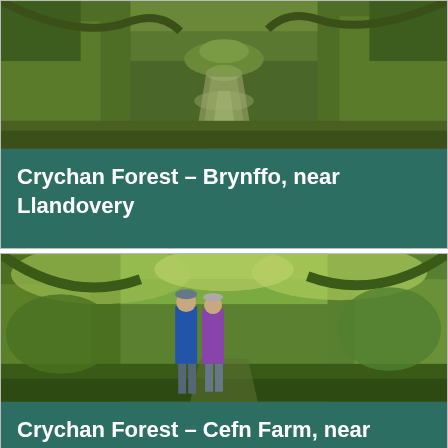[Figure (photo): A narrow forest path winding through dense green vegetation, trees and shrubs on both sides, viewed from ground level looking ahead along the trail. Crychan Forest, Brynffo, near Llandovery.]
Crychan Forest – Brynffo, near Llandovery
[Figure (photo): Two walkers, a man and a woman in outdoor jackets, walking towards the camera along a woodland path surrounded by autumn-coloured green and yellow foliage. Crychan Forest, Cefn Farm, near Llandovery.]
Crychan Forest – Cefn Farm, near Llandovery